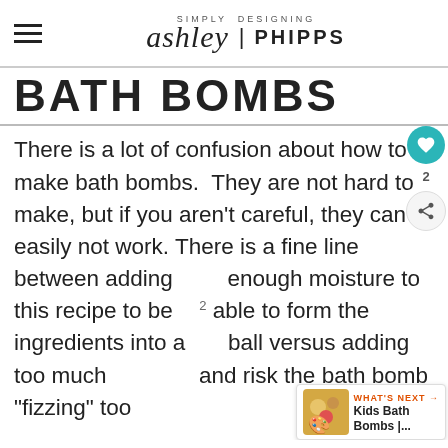SIMPLY DESIGNING ashley | PHIPPS
BATH BOMBS
There is a lot of confusion about how to make bath bombs.  They are not hard to make, but if you aren't careful, they can easily not work. There is a fine line between adding enough moisture to this recipe to be able to form the ingredients into a ball versus adding too much and risk the bath bomb "fizzing" too